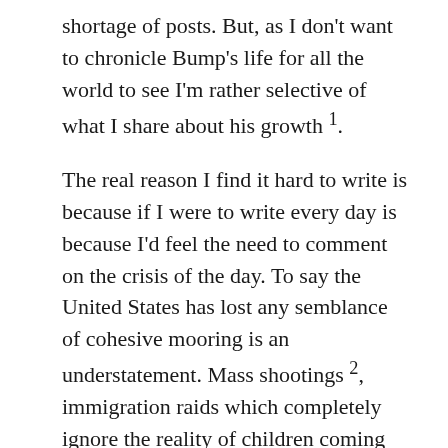shortage of posts. But, as I don't want to chronicle Bump's life for all the world to see I'm rather selective of what I share about his growth 1.
The real reason I find it hard to write is because if I were to write every day is because I'd feel the need to comment on the crisis of the day. To say the United States has lost any semblance of cohesive mooring is an understatement. Mass shootings 2, immigration raids which completely ignore the reality of children coming home from school with no parents in the picture, and "send her back" are only the tip of our descent into hatred. It's one crisis after another, with one